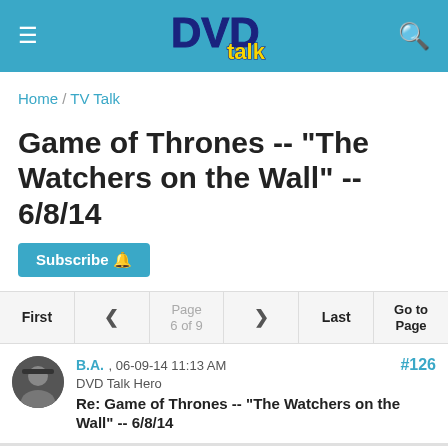DVD Talk
Home / TV Talk
Game of Thrones -- "The Watchers on the Wall" -- 6/8/14
Subscribe
First  <  Page 6 of 9  >  Last  Go to Page
#126
B.A. , 06-09-14 11:13 AM
DVD Talk Hero
Re: Game of Thrones -- "The Watchers on the Wall" -- 6/8/14